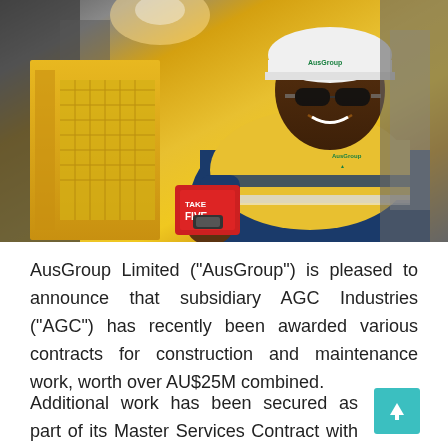[Figure (photo): A smiling worker in a yellow high-visibility shirt with AusGroup branding and white hard hat is working near yellow industrial equipment. He holds a red 'Take Five' safety card. Industrial facility background.]
AusGroup Limited (“AusGroup”) is pleased to announce that subsidiary AGC Industries (“AGC”) has recently been awarded various contracts for construction and maintenance work, worth over AU$25M combined.
Additional work has been secured as part of its Master Services Contract with Chevron Australia. AGC